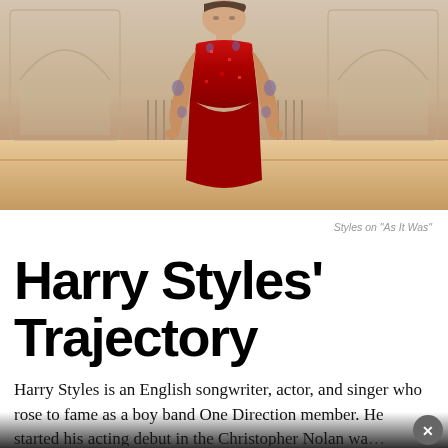[Figure (photo): Harry Styles standing in a red sequined outfit in a large hall with wooden floors and arched architectural details in the background.]
Styles on “As It Was”
Harry Styles’ Trajectory
Harry Styles is an English songwriter, actor, and singer who rose to fame as a boy band One Direction member. He started his acting debut in the Christopher Nolan wa… …which He is currently signed to Co…